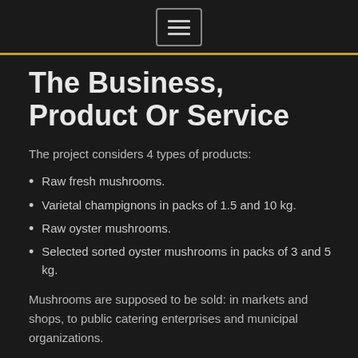Navigation menu button
The Business, Product Or Service
The project considers 4 types of products:
Raw fresh mushrooms.
Varietal champignons in packs of 1.5 and 10 kg.
Raw oyster mushrooms.
Selected sorted oyster mushrooms in packs of 3 and 5 kg.
Mushrooms are supposed to be sold: in markets and shops, to public catering enterprises and municipal organizations.
A license to grow mushrooms is not required.